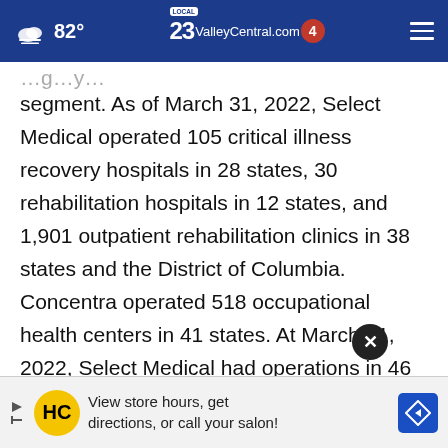82° ValleyCentral.com 23 4
segment. As of March 31, 2022, Select Medical operated 105 critical illness recovery hospitals in 28 states, 30 rehabilitation hospitals in 12 states, and 1,901 outpatient rehabilitation clinics in 38 states and the District of Columbia. Concentra operated 518 occupational health centers in 41 states. At March 31, 2022, Select Medical had operations in 46 states and the District of Columbia. Information about Select Medical om.
[Figure (screenshot): Advertisement banner: HC logo (yellow circle), text 'View store hours, get directions, or call your salon!' with navigation arrow icon]